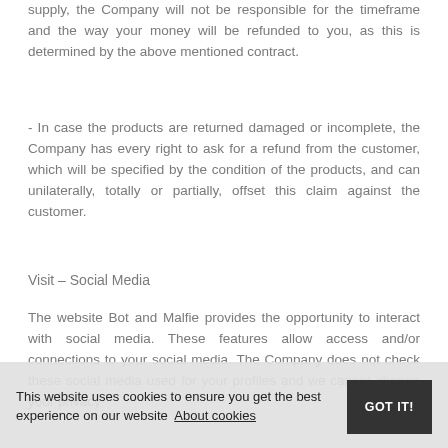supply, the Company will not be responsible for the timeframe and the way your money will be refunded to you, as this is determined by the above mentioned contract.
- In case the products are returned damaged or incomplete, the Company has every right to ask for a refund from the customer, which will be specified by the condition of the products, and can unilaterally, totally or partially, offset this claim against the customer.
Visit – Social Media
The website Bot and Malfie provides the opportunity to interact with social media. These features allow access and/or connections to your social media. The Company does not check these social media used for your profiles and we cannot change your privacy
This website uses cookies to ensure you get the best experience on our website  About cookies